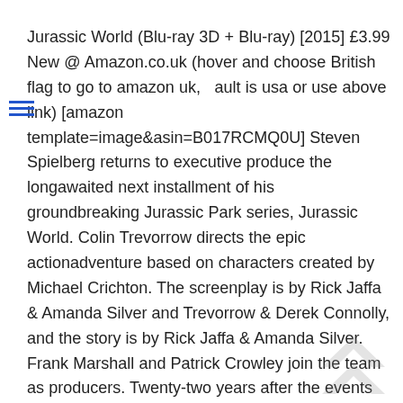Jurassic World (Blu-ray 3D + Blu-ray) [2015] £3.99 New @ Amazon.co.uk (hover and choose British flag to go to amazon uk, ault is usa or use above link) [amazon template=image&asin=B017RCMQ0U] Steven Spielberg returns to executive produce the longawaited next installment of his groundbreaking Jurassic Park series, Jurassic World. Colin Trevorrow directs the epic actionadventure based on characters created by Michael Crichton. The screenplay is by Rick Jaffa & Amanda Silver and Trevorrow & Derek Connolly, and the story is by Rick Jaffa & Amanda Silver. Frank Marshall and Patrick Crowley join the team as producers. Twenty-two years after the events of Jurassic Park (1993), Isla Nublar now features a fully functioning dinosaur theme park, Jurassic World, as originally envisioned by John Hammond. After 10 years of operation and visitor rates declining, in order to fulfill a corporate mandate, a new attraction is created to respark visitor's interest, which backfires horribly. Bonus Features Deleted Scenes, Chris & Colin Take On